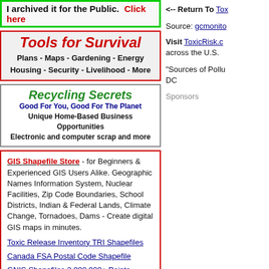[Figure (other): Banner: 'I archived it for the Public. Click here' with green border]
[Figure (other): Tools for Survival banner: italic red title, black bold subtext listing Plans, Maps, Gardening, Energy, Housing, Security, Livelihood, More]
[Figure (other): Recycling Secrets banner: green italic title, blue bold subtitle 'Good For You, Good For The Planet', black text about home business and electronic scrap]
GIS Shapefile Store - for Beginners & Experienced GIS Users Alike. Geographic Names Information System, Nuclear Facilities, Zip Code Boundaries, School Districts, Indian & Federal Lands, Climate Change, Tornadoes, Dams - Create digital GIS maps in minutes.
Toxic Release Inventory TRI Shapefiles
Canada FSA Postal Code Shapefile
GNIS Shapefiles 2,000,000+ Points
Nuclear Energy Facilities in the U.S.
<-- Return To Tox
Source: gcmonito
Visit ToxicRisk.c across the U.S.
"Sources of Pollu DC
Sponsors